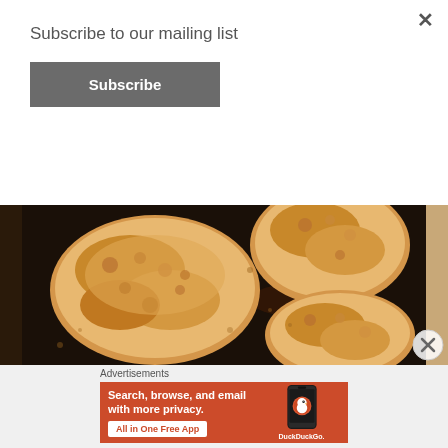Subscribe to our mailing list
Subscribe
[Figure (photo): Breaded chicken thighs on a dark baking pan, golden brown and crispy, viewed from above on a kitchen counter]
Advertisements
[Figure (screenshot): DuckDuckGo advertisement banner on orange background. Text reads: Search, browse, and email with more privacy. All in One Free App. Shows DuckDuckGo app on a phone.]